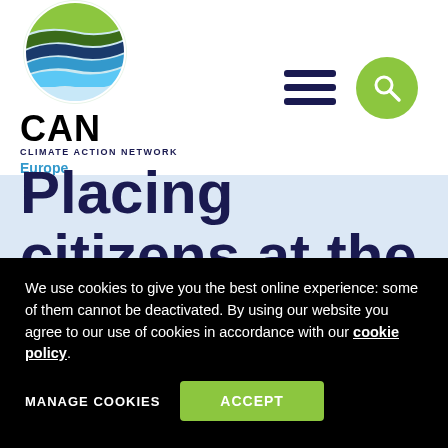[Figure (logo): CAN Climate Action Network Europe logo — circular globe graphic with green and blue wave bands, text 'CAN' in bold black, 'CLIMATE ACTION NETWORK' in small caps navy, 'Europe' in blue]
Placing citizens at the heart of the
We use cookies to give you the best online experience: some of them cannot be deactivated. By using our website you agree to our use of cookies in accordance with our cookie policy.
MANAGE COOKIES   ACCEPT